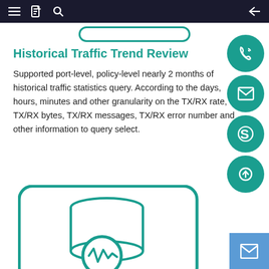Navigation bar with menu, document, search, and back icons
Historical Traffic Trend Review
Supported port-level, policy-level nearly 2 months of historical traffic statistics query. According to the days, hours, minutes and other granularity on the TX/RX rate, TX/RX bytes, TX/RX messages, TX/RX error number and other information to query select.
[Figure (illustration): Teal rounded rectangle containing a database cylinder icon with a magnifying glass overlay showing a waveform/activity graph, representing traffic analysis.]
[Figure (infographic): Right sidebar with four teal circular icon buttons: phone/call icon, envelope/mail icon, Skype 'S' logo icon, and upload/arrow-up icon. Plus a blue mail button at bottom right.]